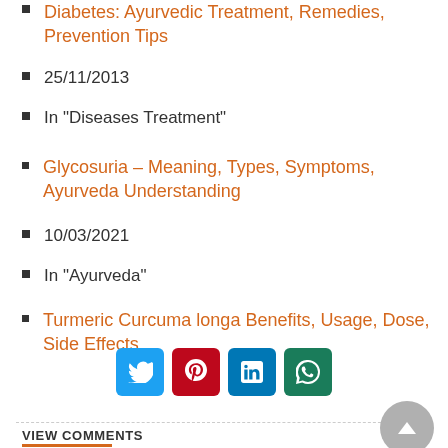Diabetes: Ayurvedic Treatment, Remedies, Prevention Tips
25/11/2013
In "Diseases Treatment"
Glycosuria – Meaning, Types, Symptoms, Ayurveda Understanding
10/03/2021
In "Ayurveda"
Turmeric Curcuma longa Benefits, Usage, Dose, Side Effects
23/10/2013
In "Ayurvedic Herbs"
[Figure (infographic): Social sharing buttons: Twitter (blue), Pinterest (red), LinkedIn (blue), WhatsApp (green)]
VIEW COMMENTS